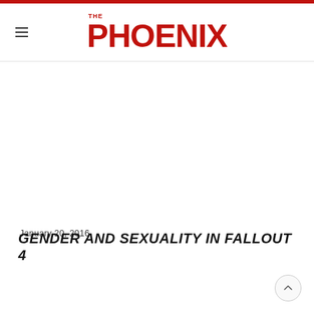THE PHOENIX
January 20, 2016
GENDER AND SEXUALITY IN FALLOUT 4